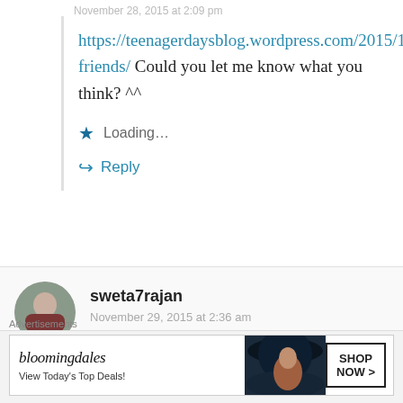November 28, 2015 at 2:09 pm
https://teenagerdaysblog.wordpress.com/2015/11/26/no-friends/ Could you let me know what you think? ^^
Loading...
Reply
sweta7rajan
November 29, 2015 at 2:36 am
Advertisements
[Figure (other): Bloomingdales advertisement banner with hat-wearing woman and SHOP NOW button. Text: bloomingdales, View Today's Top Deals!, SHOP NOW >]